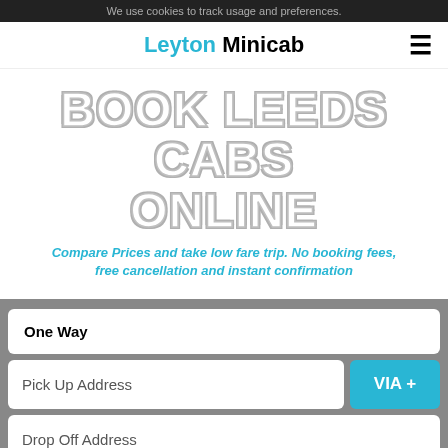We use cookies to track usage and preferences.
Leyton Minicab
BOOK LEEDS CABS ONLINE
Compare Prices and take low fare trip. No booking fees, free cancellation and instant confirmation
One Way
Pick Up Address
VIA +
Drop Off Address
27-08-2022 18:57